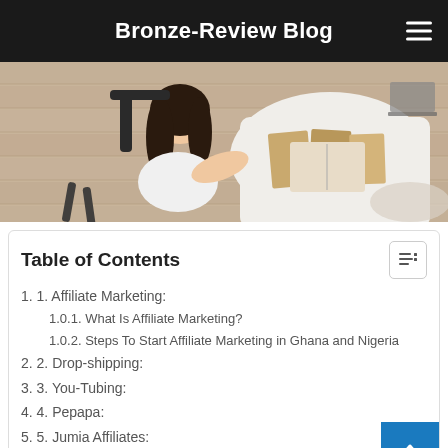Bronze-Review Blog
[Figure (photo): Overhead/top-down view of a person with long dark hair sitting at a white desk, reading books, on a wooden floor background]
Table of Contents
1. 1. Affiliate Marketing:
1.0.1. What Is Affiliate Marketing?
1.0.2. Steps To Start Affiliate Marketing in Ghana and Nigeria
2. 2. Drop-shipping:
3. 3. You-Tubing:
4. 4. Pepapa:
5. 5. Jumia Affiliates:
6. 5. Blogging: